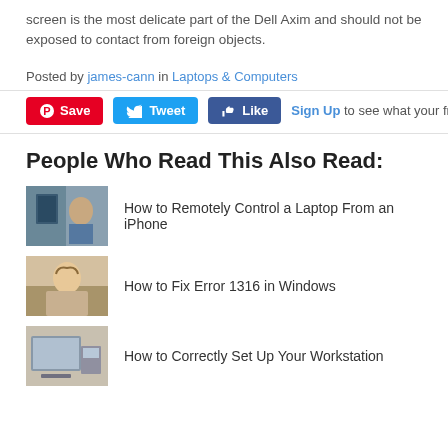screen is the most delicate part of the Dell Axim and should not be exposed to contact from foreign objects.
Posted by james-cann in Laptops & Computers
[Figure (screenshot): Social sharing bar with Pinterest Save button, Twitter Tweet button, Facebook Like button, and Sign Up link]
People Who Read This Also Read:
[Figure (photo): Person at laptop near window]
How to Remotely Control a Laptop From an iPhone
[Figure (photo): Person holding head at desk]
How to Fix Error 1316 in Windows
[Figure (photo): Workstation setup photo]
How to Correctly Set Up Your Workstation